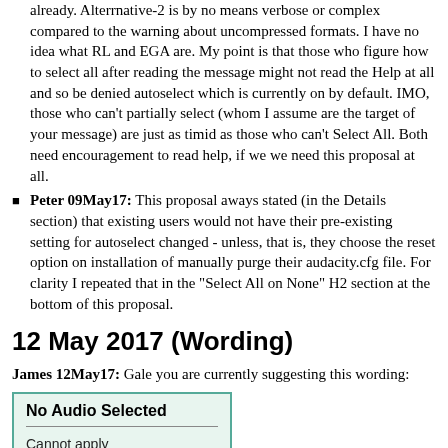already. Alterrnative-2 is by no means verbose or complex compared to the warning about uncompressed formats. I have no idea what RL and EGA are. My point is that those who figure how to select all after reading the message might not read the Help at all and so be denied autoselect which is currently on by default. IMO, those who can't partially select (whom I assume are the target of your message) are just as timid as those who can't Select All. Both need encouragement to read help, if we we need this proposal at all.
Peter 09May17: This proposal aways stated (in the Details section) that existing users would not have their pre-existing setting for autoselect changed - unless, that is, they choose the reset option on installation of manually purge their audacity.cfg file. For clarity I repeated that in the "Select All on None" H2 section at the bottom of this proposal.
12 May 2017 (Wording)
James 12May17: Gale you are currently suggesting this wording:
[Figure (screenshot): A dialog box with teal/green border and light green background. Title 'No Audio Selected' in bold. A horizontal rule below the title. Body text reads 'Cannot apply' and 'Normalize. Select the' (cut off).]